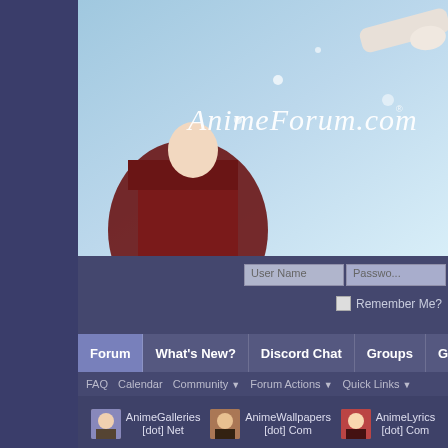[Figure (screenshot): AnimeForum.com website banner with anime character illustration and logo in italic script]
User Name | Password | Remember Me?
Forum | What's New? | Discord Chat | Groups | Gallery
FAQ | Calendar | Community | Forum Actions | Quick Links
AnimeGalleries [dot] Net | AnimeWallpapers [dot] Com | AnimeLyrics [dot] Com
Member List > Keyuzer
If this is your first visit, be sure to check out the FAQ by clicking the link above before you can post: click the register link above to proceed. To start vie...